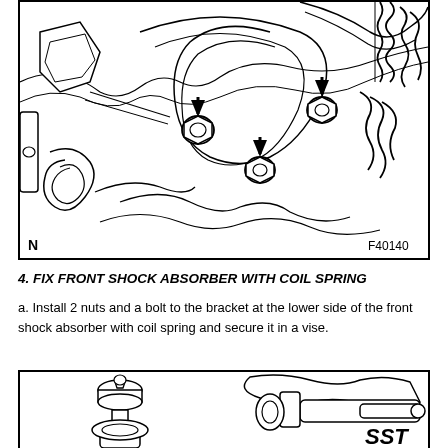[Figure (engineering-diagram): Technical line drawing showing front suspension area with three bolts/nuts indicated by black arrows pointing downward, labeled N with figure code F40140]
4. FIX FRONT SHOCK ABSORBER WITH COIL SPRING
a. Install 2 nuts and a bolt to the bracket at the lower side of the front shock absorber with coil spring and secure it in a vise.
[Figure (engineering-diagram): Technical line drawing showing a shock absorber assembly secured in a vise with SST tool applied from the right side]